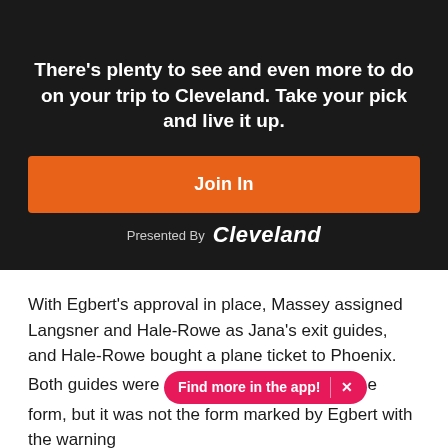There’s plenty to see and even more to do on your trip to Cleveland. Take your pick and live it up.
Join In
Presented By Cleveland
With Egbert's approval in place, Massey assigned Langsner and Hale-Rowe as Jana's exit guides, and Hale-Rowe bought a plane ticket to Phoenix. Both guides were [Find more in the app! ×] e form, but it was not the form marked by Egbert with the warning